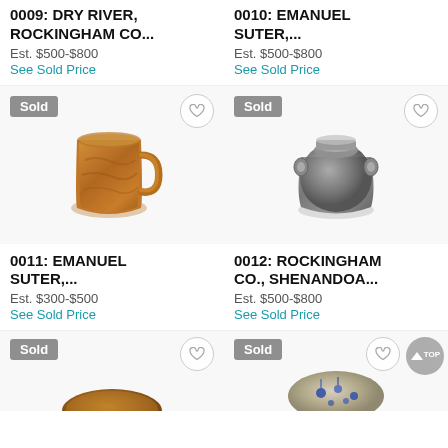0009: DRY RIVER, ROCKINGHAM CO...
Est. $500-$800
See Sold Price
0010: EMANUEL SUTER,...
Est. $500-$800
See Sold Price
[Figure (photo): Brown Rockingham glazed ceramic mug with handle, sold badge and heart icon]
[Figure (photo): Gray/dark glazed ceramic pot with ear handles, sold badge and heart icon]
0011: EMANUEL SUTER,...
Est. $300-$500
See Sold Price
0012: ROCKINGHAM CO., SHENANDOA...
Est. $500-$800
See Sold Price
[Figure (photo): Partial view of a brown ceramic bowl, sold badge and heart icon]
[Figure (photo): Partial view of a decorated stoneware crock with blue floral design, sold badge, heart icon, and TOP button]